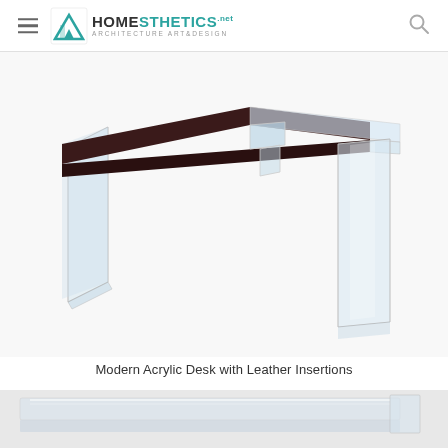HOMESTHETICS - Architecture Art & Design
[Figure (photo): Modern acrylic desk with dark leather top surface and transparent clear acrylic panel legs, shown from an angled perspective on white background]
Modern Acrylic Desk with Leather Insertions
[Figure (photo): Partial view of another modern acrylic desk from below/side angle, showing reflective acrylic surfaces]